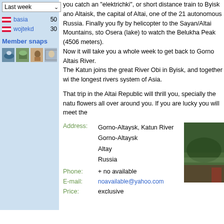Last week (dropdown)
basia 50
wojtekd 30
Member snaps
[Figure (photo): Four small thumbnail photos of member snaps]
you catch an "elektrichki", or short distance train to Byisk and Altaisk, the capital of Altai, one of the 21 autonomous Russia. Finally you fly by helicopter to the Sayan/Altai Mountains, sto Osera (lake) to watch the Belukha Peak (4506 meters). Now it will take you a whole week to get back to Gorno Altais River. The Katun joins the great River Obi in Byisk, and together wi the longest rivers system of Asia. That trip in the Altai Republic will thrill you, specially the natu flowers all over around you. If you are lucky you will meet the
| Label | Value |
| --- | --- |
| Address: | Gorno-Altaysk, Katun River
Gorno-Altaysk
Altay
Russia |
| Phone: | + no available |
| E-mail: | noavailable@yahoo.com |
| Price: | exclusive |
[Figure (photo): Photo of a river scene with trees]